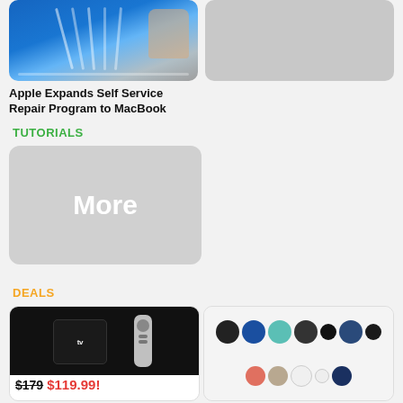[Figure (photo): Apple repair tools on blue background with person's hands]
Apple Expands Self Service Repair Program to MacBook
[Figure (photo): Gray placeholder image on right side]
TUTORIALS
[Figure (other): Gray card with 'More' text as tutorials placeholder]
DEALS
[Figure (photo): Apple TV 4K device with remote, price tag showing $179 crossed out and $119.99 in red]
Amazon Still Has Apple TV 4K On Sale for 33% Off [Deal]
[Figure (photo): Sony earbuds, headphones, and portable speakers product grid]
Sony Earbuds, Headphones, Portable Speakers On Sale for